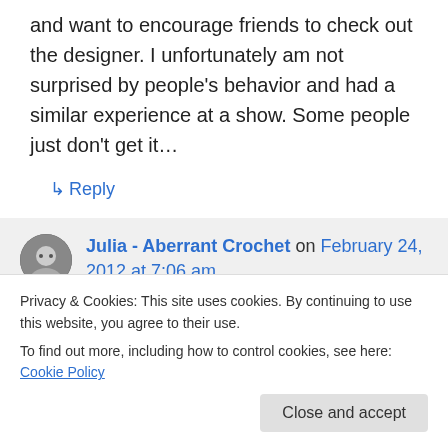and want to encourage friends to check out the designer. I unfortunately am not surprised by people's behavior and had a similar experience at a show. Some people just don't get it…
↳ Reply
Julia - Aberrant Crochet on February 24, 2012 at 7:06 am
Thanks for your kind comments Lee! That's
then that limit, short, short, short. And only a
Privacy & Cookies: This site uses cookies. By continuing to use this website, you agree to their use.
To find out more, including how to control cookies, see here: Cookie Policy